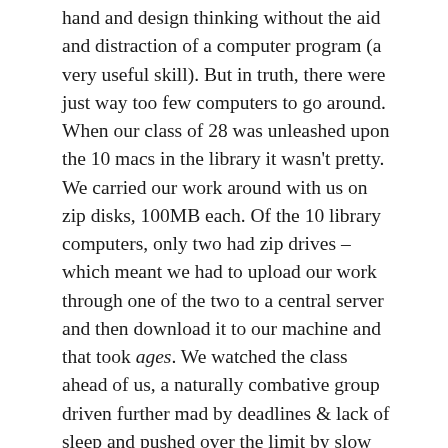hand and design thinking without the aid and distraction of a computer program (a very useful skill). But in truth, there were just way too few computers to go around. When our class of 28 was unleashed upon the 10 macs in the library it wasn't pretty. We carried our work around with us on zip disks, 100MB each. Of the 10 library computers, only two had zip drives – which meant we had to upload our work through one of the two to a central server and then download it to our machine and that took ages. We watched the class ahead of us, a naturally combative group driven further mad by deadlines & lack of sleep and pushed over the limit by slow upload and download times, physically fight over machines.
Motivated mostly by the desire for convenience, and with a bit of room in my student loan, I enlisted the assistance of a laptop to help me get through all the computer...